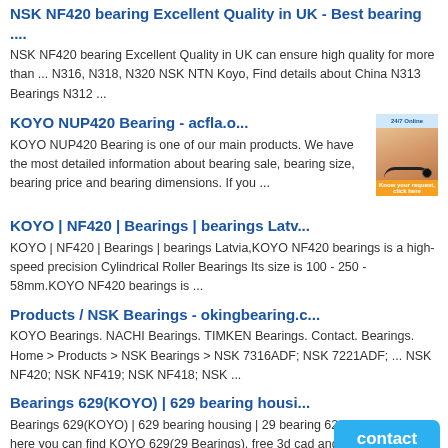NSK NF420 bearing Excellent Quality in UK - Best bearing ....
NSK NF420 bearing Excellent Quality in UK can ensure high quality for more than ... N316, N318, N320 NSK NTN Koyo, Find details about China N313 Bearings N312 ...
KOYO NUP420 Bearing - acfla.o...
KOYO NUP420 Bearing is one of our main products. We have the most detailed information about bearing sale, bearing size, bearing price and bearing dimensions. If you ...
KOYO | NF420 | Bearings | bearings Latv...
KOYO | NF420 | Bearings | bearings Latvia,KOYO NF420 bearings is a high-speed precision Cylindrical Roller Bearings Its size is 100 - 250 - 58mm.KOYO NF420 bearings is ...
Products / NSK Bearings - okingbearing.c...
KOYO Bearings. NACHI Bearings. TIMKEN Bearings. Contact. Bearings. Home > Products > NSK Bearings > NSK 7316ADF; NSK 7221ADF; ... NSK NF420; NSK NF419; NSK NF418; NSK ...
Bearings 629(KOYO) | 629 bearing housi...
Bearings 629(KOYO) | 629 bearing housing | 29 bearing 629(29Bearings),I here you can find KOYO 629(29 Bearings), free 3d cad and 3D model